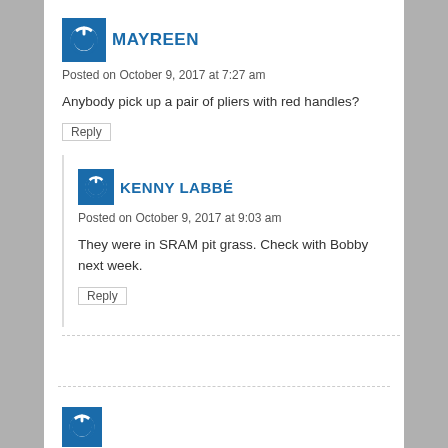[Figure (logo): Blue square avatar icon with white power symbol for user MAYREEN]
MAYREEN
Posted on October 9, 2017 at 7:27 am
Anybody pick up a pair of pliers with red handles?
Reply
[Figure (logo): Blue square avatar icon with white power symbol for user KENNY LABBÉ]
KENNY LABBÉ
Posted on October 9, 2017 at 9:03 am
They were in SRAM pit grass. Check with Bobby next week.
Reply
[Figure (logo): Blue square avatar icon partially visible at bottom]